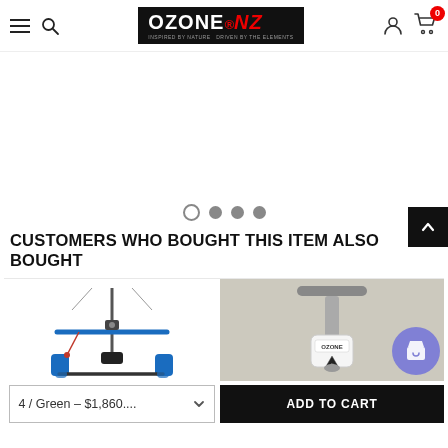Ozone NZ - navigation header with hamburger menu, search, logo, account, cart (0)
[Figure (screenshot): Carousel image area with 4 navigation dots (first dot is empty/outlined, dots 2-3-4 are filled gray)]
CUSTOMERS WHO BOUGHT THIS ITEM ALSO BOUGHT
[Figure (photo): Kite bar / control bar product image showing a blue and black bar with lines]
[Figure (photo): Ozone pump product image on beige/tan background]
4 / Green - $1,860....
ADD TO CART